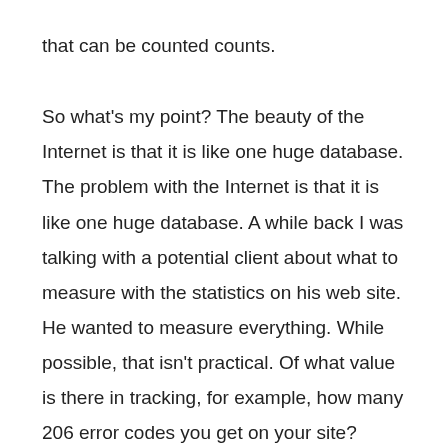that can be counted counts.
So what's my point? The beauty of the Internet is that it is like one huge database. The problem with the Internet is that it is like one huge database. A while back I was talking with a potential client about what to measure with the statistics on his web site. He wanted to measure everything. While possible, that isn't practical. Of what value is there in tracking, for example, how many 206 error codes you get on your site? Anybody out there know what a 206 error is? Those of you who just said yes are web techs. But for a business owner, that information isn't a useful metric to determine the success of the site or the